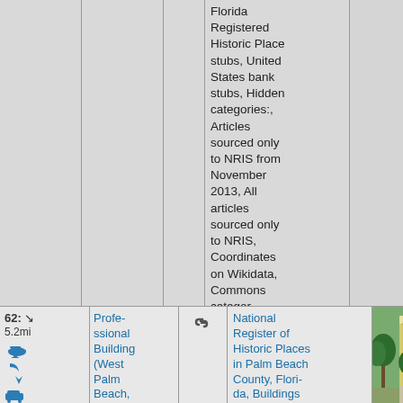| # | Name | Link | Categories | Image |
| --- | --- | --- | --- | --- |
|  |  |  | Florida Registered Historic Place stubs, United States bank stubs, Hidden categories:, Articles sourced only to NRIS from November 2013, All articles sourced only to NRIS, Coordinates on Wikidata, Commons categor... |  |
| 62: ↘ 5.2mi | Professional Building (West Palm Beach, Florida) | 🔗 | National Register of Historic Places in Palm Beach County, Florida, Buildings and structures in West Palm Beach, Florida, Palm Beach County, | [photo] |
[Figure (photo): Photo of Professional Building in West Palm Beach, Florida - a yellow two-story commercial building with green awnings and trees in front]